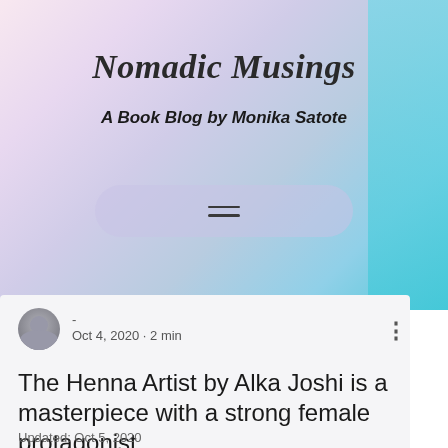Nomadic Musings
A Book Blog by Monika Satote
[Figure (other): Hamburger menu navigation button inside a rounded pill-shaped container]
- 
Oct 4, 2020 · 2 min
The Henna Artist by Alka Joshi is a masterpiece with a strong female protagonist
Updated: Oct 5, 2020